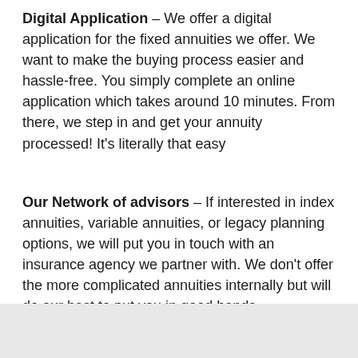Digital Application – We offer a digital application for the fixed annuities we offer. We want to make the buying process easier and hassle-free. You simply complete an online application which takes around 10 minutes. From there, we step in and get your annuity processed! It's literally that easy
Our Network of advisors – If interested in index annuities, variable annuities, or legacy planning options, we will put you in touch with an insurance agency we partner with. We don't offer the more complicated annuities internally but will do our best to put you in good hands.